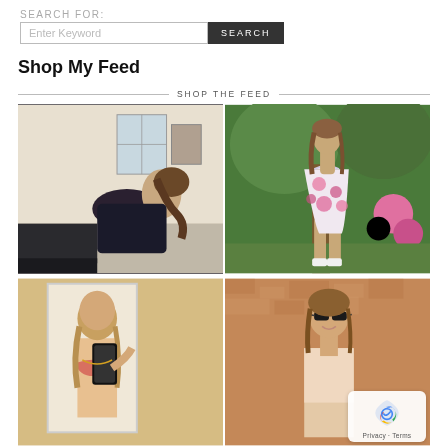SEARCH FOR:
[Figure (screenshot): Search bar with text input 'Enter Keyword' and dark SEARCH button]
Shop My Feed
SHOP THE FEED
[Figure (photo): Woman doing yoga or exercise in a dark workout outfit, indoors]
[Figure (photo): Woman in a floral pink mini dress standing outdoors among greenery]
[Figure (photo): Woman in bikini top taking a mirror selfie, holding phone]
[Figure (photo): Woman wearing sunglasses outdoors in front of a textured wall]